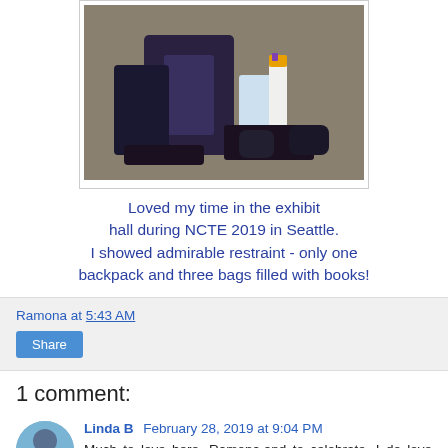[Figure (photo): Photo of backpacks and bags with books at exhibit hall, person standing behind]
Loved my time in the exhibit hall during NCTE 2019 in Seattle. I showed admirable restraint - only one backpack and three bags filled with books!
Ramona at 5:43 AM
Share
1 comment:
Linda B February 28, 2019 at 9:04 PM
Much to love here, Ramona,and to celebrate. I do love seeing pictures of those boys! Have fun with SOLC!